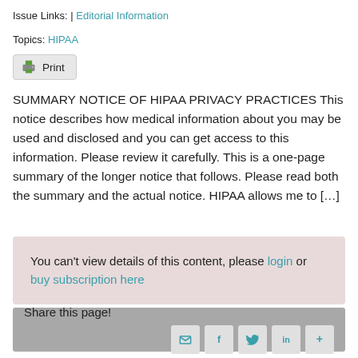Issue Links: | Editorial Information
Topics: HIPAA
Print
SUMMARY NOTICE OF HIPAA PRIVACY PRACTICES This notice describes how medical information about you may be used and disclosed and you can get access to this information. Please review it carefully. This is a one-page summary of the longer notice that follows. Please read both the summary and the actual notice. HIPAA allows me to […]
You can't view details of this content, please login or buy subscription here
Share this page!